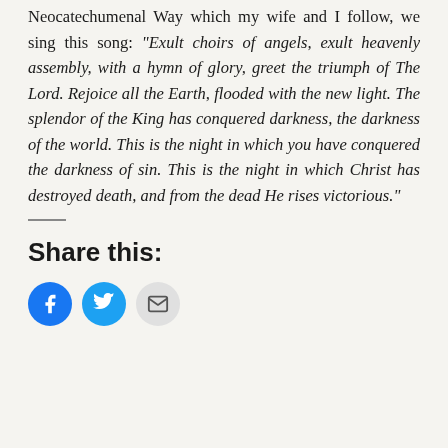Neocatechumenal Way which my wife and I follow, we sing this song: "Exult choirs of angels, exult heavenly assembly, with a hymn of glory, greet the triumph of The Lord. Rejoice all the Earth, flooded with the new light. The splendor of the King has conquered darkness, the darkness of the world. This is the night in which you have conquered the darkness of sin. This is the night in which Christ has destroyed death, and from the dead He rises victorious."
Share this: